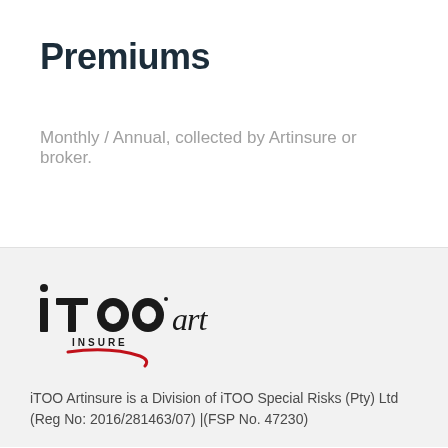Premiums
Monthly / Annual, collected by Artinsure or broker.
[Figure (logo): iTOO art INSURE logo with stylized red swoosh underline]
iTOO Artinsure is a Division of iTOO Special Risks (Pty) Ltd (Reg No: 2016/281463/07) |(FSP No. 47230)